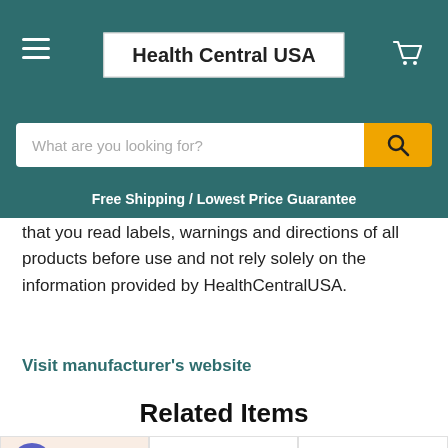Health Central USA
Free Shipping / Lowest Price Guarantee
that you read labels, warnings and directions of all products before use and not rely solely on the information provided by HealthCentralUSA.
Visit manufacturer's website
Related Items
[Figure (photo): Three product jars from Advanced Clinicals brand shown in a row, with a purple gift badge icon overlaid on the first product.]